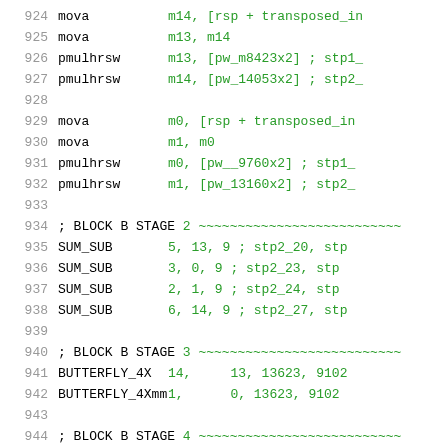924   mova   m14, [rsp + transposed_in
925   mova   m13, m14
926   pmulhrsw   m13, [pw_m8423x2] ; stp1_
927   pmulhrsw   m14, [pw_14053x2] ; stp2_
928
929   mova   m0, [rsp + transposed_in
930   mova   m1, m0
931   pmulhrsw   m0, [pw__9760x2] ; stp1_
932   pmulhrsw   m1, [pw_13160x2] ; stp2_
933
934   ; BLOCK B STAGE 2 ~~~~~~~~~~~~~~~~~~~~~~~~~~~
935   SUM_SUB   5, 13, 9 ; stp2_20, stp
936   SUM_SUB   3,  0, 9 ; stp2_23, stp
937   SUM_SUB   2,  1, 9 ; stp2_24, stp
938   SUM_SUB   6, 14, 9 ; stp2_27, stp
939
940   ; BLOCK B STAGE 3 ~~~~~~~~~~~~~~~~~~~~~~~~~~~
941   BUTTERFLY_4X   14,   13, 13623, 9102
942   BUTTERFLY_4Xmm   1,    0, 13623, 9102
943
944   ; BLOCK B STAGE 4 ~~~~~~~~~~~~~~~~~~~~~~~~~~~